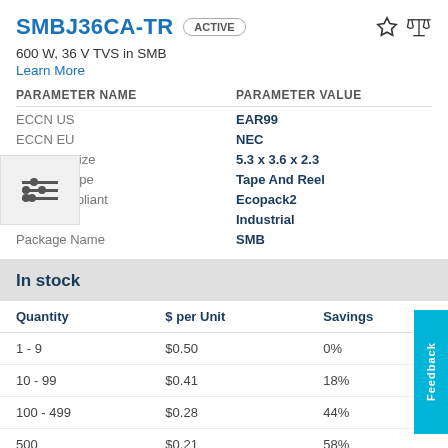SMBJ36CA-TR  ACTIVE
600 W, 36 V TVS in SMB
Learn More
| PARAMETER NAME | PARAMETER VALUE |
| --- | --- |
| ECCN US | EAR99 |
| ECCN EU | NEC |
| Package Size | 5.3 x 3.6 x 2.3 |
| Packing Type | Tape And Reel |
| RoHs compliant | Ecopack2 |
| Grade | Industrial |
| Package Name | SMB |
In stock
| Quantity | $ per Unit | Savings |
| --- | --- | --- |
| 1 - 9 | $0.50 | 0% |
| 10 - 99 | $0.41 | 18% |
| 100 - 499 | $0.28 | 44% |
| 500 | $0.21 | 58% |